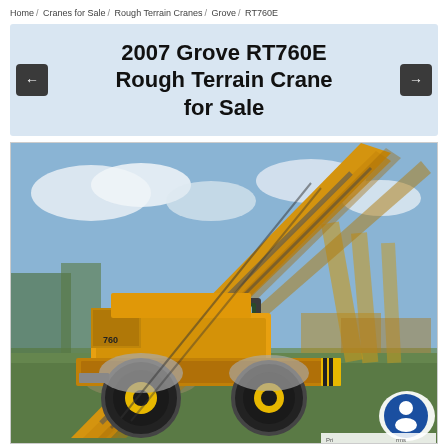Home / Cranes for Sale / Rough Terrain Cranes / Grove / RT760E
2007 Grove RT760E Rough Terrain Crane for Sale
[Figure (photo): A yellow Grove RT760E rough terrain crane photographed outdoors on grass with blue sky in background. The crane has large black tires with yellow rims and its boom extends diagonally upward to the right. A 'GROVE' logo is visible on the cab. Multiple similar cranes are visible in the background.]